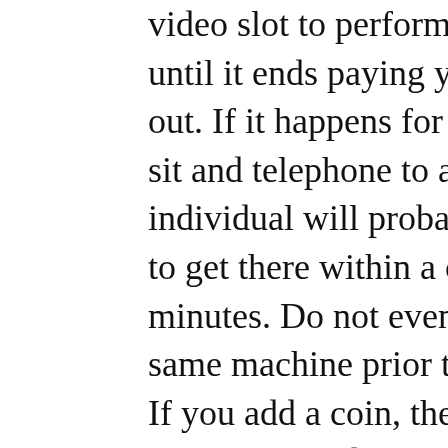video slot to perform from coins until it ends paying your winnings out. If it happens for youpersonally, sit and telephone to an attendant. An individual will probably remember to get there within a couple of minutes. Do not even play the exact same machine prior to getting paid . If you add a coin, then the more signs of one's bare payout can possibly be erased.

Though slot-machines have developed from the fundamental onearmed bandit that older timers used to play , there remain lots of fables regarding